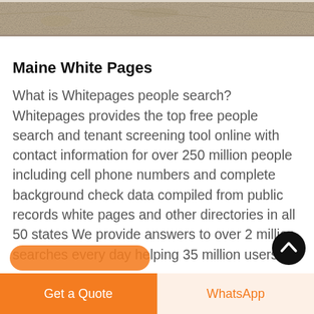[Figure (photo): Top portion of a photo showing a rocky/sandy terrain, partially cropped at top of page.]
[Figure (illustration): Live Chat icon: teal speech bubble with 'LIVE CHAT' text overlapping a dark purple speech bubble, in the top right area.]
Maine White Pages
What is Whitepages people search? Whitepages provides the top free people search and tenant screening tool online with contact information for over 250 million people including cell phone numbers and complete background check data compiled from public records white pages and other directories in all 50 states We provide answers to over 2 million searches every day helping 35 million users
[Figure (illustration): Partially visible orange rounded rectangle button at the bottom of the content area (cut off).]
[Figure (illustration): Black circular scroll-to-top button with upward chevron arrow, bottom right corner.]
Get a Quote
WhatsApp